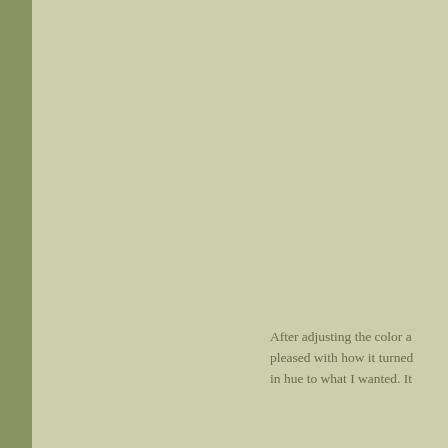After adjusting the color a pleased with how it turned in hue to what I wanted. It